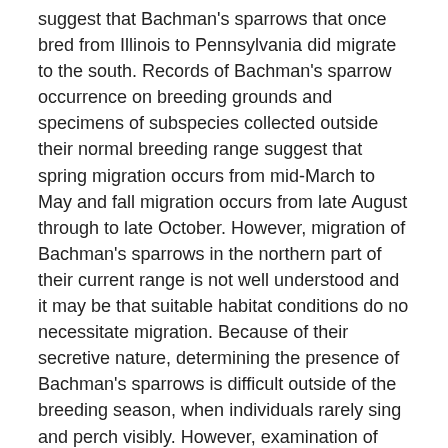suggest that Bachman's sparrows that once bred from Illinois to Pennsylvania did migrate to the south. Records of Bachman's sparrow occurrence on breeding grounds and specimens of subspecies collected outside their normal breeding range suggest that spring migration occurs from mid-March to May and fall migration occurs from late August through to late October. However, migration of Bachman's sparrows in the northern part of their current range is not well understood and it may be that suitable habitat conditions do no necessitate migration. Because of their secretive nature, determining the presence of Bachman's sparrows is difficult outside of the breeding season, when individuals rarely sing and perch visibly. However, examination of eBird data from recent decades suggests that several populations of Bachman's sparrows remain in North Carolina for the winter.